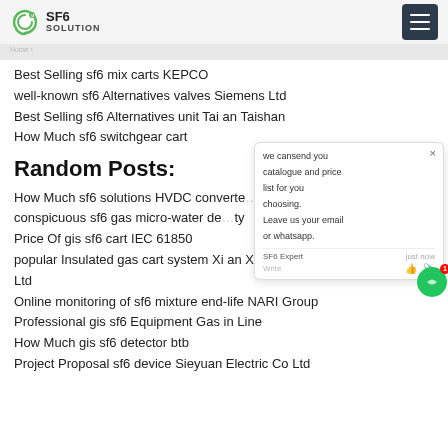SF6 SOLUTION
Best Selling sf6 mix carts KEPCO
well-known sf6 Alternatives valves Siemens Ltd
Best Selling sf6 Alternatives unit Tai an Taishan
How Much sf6 switchgear cart
Random Posts:
How Much sf6 solutions HVDC converter
conspicuous sf6 gas micro-water density
Price Of gis sf6 cart IEC 61850
popular Insulated gas cart system Xi an XD High Voltage Apparatus Co Ltd
Online monitoring of sf6 mixture end-life NARI Group
Professional gis sf6 Equipment Gas in Line
How Much gis sf6 detector btb
Project Proposal sf6 device Sieyuan Electric Co Ltd